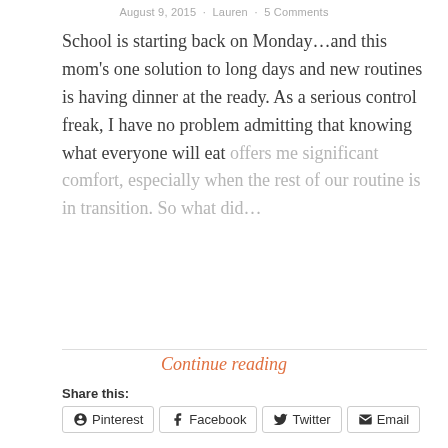August 9, 2015 · Lauren · 5 Comments
School is starting back on Monday…and this mom's one solution to long days and new routines is having dinner at the ready. As a serious control freak, I have no problem admitting that knowing what everyone will eat offers me significant comfort, especially when the rest of our routine is in transition. So what did…
Continue reading
Share this:
Pinterest  Facebook  Twitter  Email
More
Like this:
Loading...